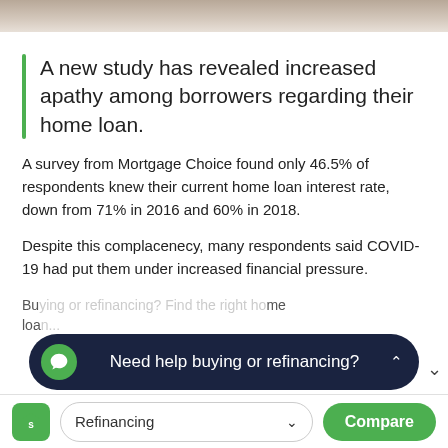[Figure (photo): Top portion of an image, partially cropped, showing a warm-toned blurred background.]
A new study has revealed increased apathy among borrowers regarding their home loan.
A survey from Mortgage Choice found only 46.5% of respondents knew their current home loan interest rate, down from 71% in 2016 and 60% in 2018.
Despite this complacenecy, many respondents said COVID-19 had put them under increased financial pressure.
Bu... me loan...
[Figure (screenshot): Dark navy chat bar popup with green icon, reading 'Need help buying or refinancing?']
Refinancing
Compare